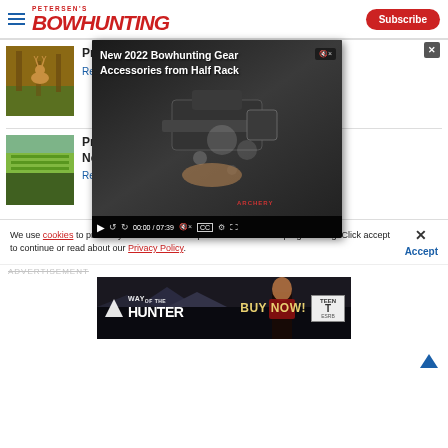Petersen's Bowhunting - Subscribe
Prepping for the Perfect Shot
[Figure (screenshot): Video player overlay showing 'New 2022 Bowhunting Gear Accessories from Half Rack' with video controls: play button, rewind, forward, time 00:00 / 07:39, mute, CC, settings, fullscreen. Video thumbnail shows bowhunting equipment.]
Read
Pra... No...
[Figure (photo): Thumbnail photo of a deer in a forest]
[Figure (photo): Thumbnail photo of a green agricultural field]
Read
We use cookies to provide you with the best experience in Outdoors programming. Click accept to continue or read about our Privacy Policy.
Advertisement
[Figure (screenshot): Advertisement banner for 'Way of the Hunter' video game with tagline BUY NOW! and Teen ESRB rating]